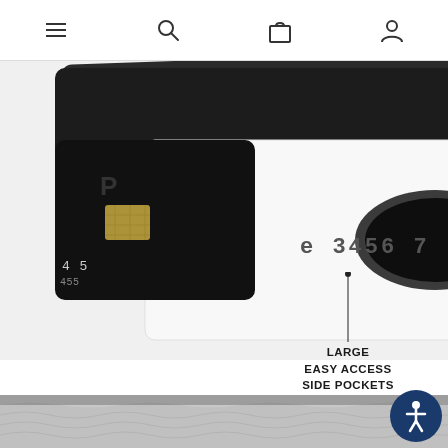[Figure (screenshot): Mobile website navigation bar with hamburger menu, search icon, shopping bag icon, and user account icon]
[Figure (photo): Product photo of a black leather wallet with multiple cards visible including credit cards partially inserted into white card sleeves showing card numbers '3456 7' and a chip. A side pocket is visible with partial text '035', 'XX', and 'CHECK'. A recycle symbol is visible on the white card sleeve.]
LARGE
EASY ACCESS
SIDE POCKETS
[Figure (photo): Partial bottom product image showing a gray/silver textured fabric or material]